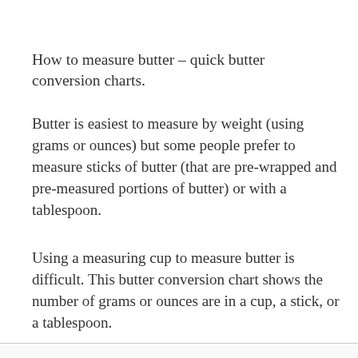How to measure butter – quick butter conversion charts.
Butter is easiest to measure by weight (using grams or ounces) but some people prefer to measure sticks of butter (that are pre-wrapped and pre-measured portions of butter) or with a tablespoon.
Using a measuring cup to measure butter is difficult. This butter conversion chart shows the number of grams or ounces are in a cup, a stick, or a tablespoon.